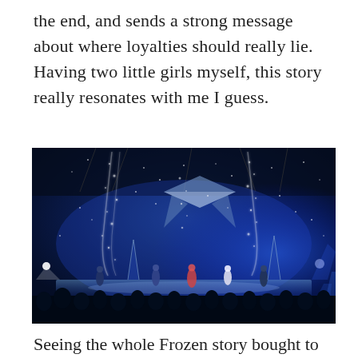the end, and sends a strong message about where loyalties should really lie.  Having two little girls myself, this story really resonates with me I guess.
[Figure (photo): A theatrical ice show performance with blue stage lighting, performers on ice, cascading sparkle/snow effects falling from the ceiling, and a large diamond-shaped set piece overhead. Audience silhouettes visible in the foreground.]
Seeing the whole Frozen story bought to life on the